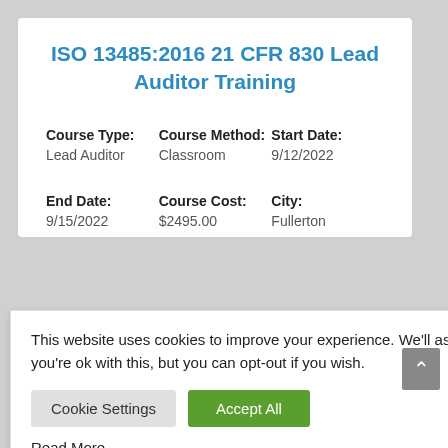ISO 13485:2016 21 CFR 830 Lead Auditor Training
| Course Type: | Course Method: | Start Date: |
| --- | --- | --- |
| Lead Auditor | Classroom | 9/12/2022 |
| End Date: | Course Cost: | City: |
| --- | --- | --- |
| 9/15/2022 | $2495.00 | Fullerton |
This website uses cookies to improve your experience. We'll assume you're ok with this, but you can opt-out if you wish.
Cookie Settings
Accept All
Read More
bal Lead